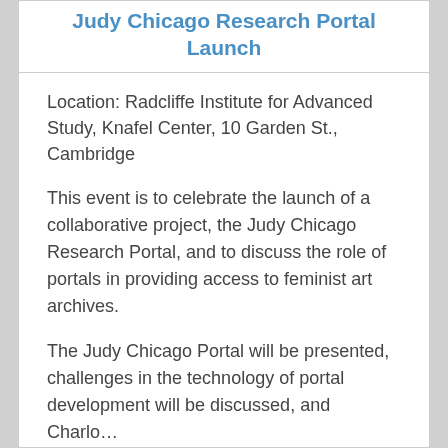Judy Chicago Research Portal Launch
Location: Radcliffe Institute for Advanced Study, Knafel Center, 10 Garden St., Cambridge
This event is to celebrate the launch of a collaborative project, the Judy Chicago Research Portal, and to discuss the role of portals in providing access to feminist art archives.
The Judy Chicago Portal will be presented, challenges in the technology of portal development will be discussed, and Charlotte…